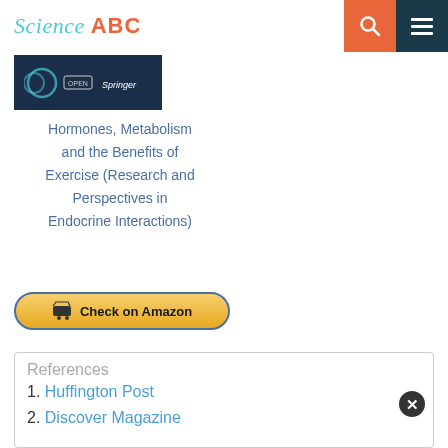Science ABC
[Figure (screenshot): Book cover thumbnail showing a dark blue background with open-access and Springer logos]
Hormones, Metabolism and the Benefits of Exercise (Research and Perspectives in Endocrine Interactions)
[Figure (other): Check on Amazon button with shopping cart icon, gold/yellow gradient background with blue border]
References
1. Huffington Post
2. Discover Magazine